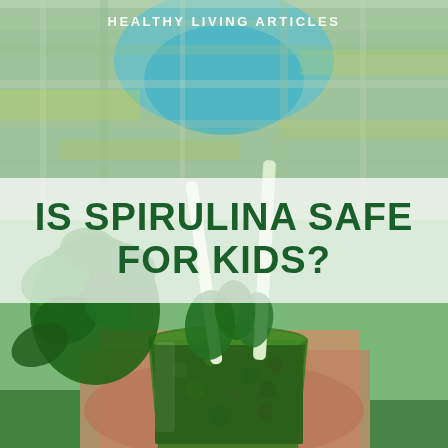[Figure (photo): A child in a plaid shirt holding a glass of green spirulina smoothie with celery stalks and herbs used as garnish and straws, blurred background.]
HEALTHY LIVING ARTICLES
IS SPIRULINA SAFE FOR KIDS?